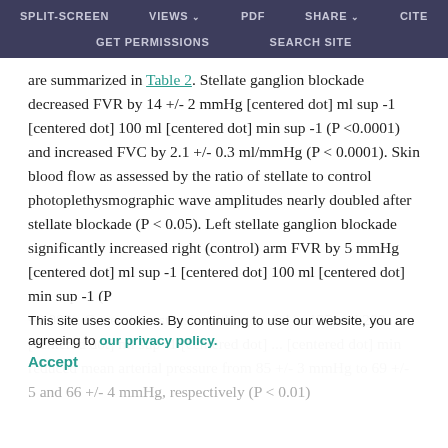SPLIT-SCREEN   VIEWS   PDF   SHARE   CITE   GET PERMISSIONS   SEARCH SITE
are summarized in Table 2. Stellate ganglion blockade decreased FVR by 14 +/- 2 mmHg [centered dot] ml sup -1 [centered dot] 100 ml [centered dot] min sup -1 (P <0.0001) and increased FVC by 2.1 +/- 0.3 ml/mmHg (P < 0.0001). Skin blood flow as assessed by the ratio of stellate to control photoplethysmographic wave amplitudes nearly doubled after stellate blockade (P < 0.05). Left stellate ganglion blockade significantly increased right (control) arm FVR by 5 mmHg [centered dot] ml sup -1 [centered dot] 100 ml [centered dot] min sup -1 (P +0.005). General anesthesia with propofol at 125 and 200 ... [centered dot] min sup -1 [centered dot] ... [centered dot] min reduced mean arterial pressure from 85 +/- 3 mmHg to 69 +/- 5 and 66 +/- 4 mmHg, respectively (P < 0.01)
This site uses cookies. By continuing to use our website, you are agreeing to our privacy policy. Accept